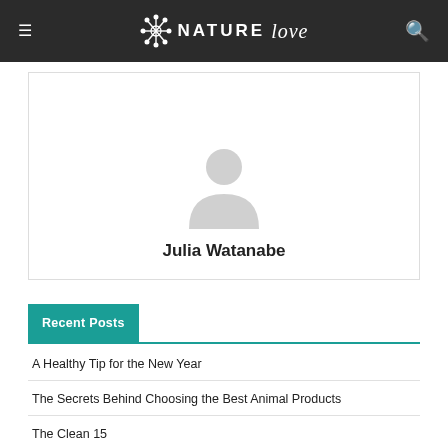NATURE love
[Figure (illustration): User profile avatar placeholder — grey silhouette of a person on white background]
Julia Watanabe
Recent Posts
A Healthy Tip for the New Year
The Secrets Behind Choosing the Best Animal Products
The Clean 15
Dirty Dozen